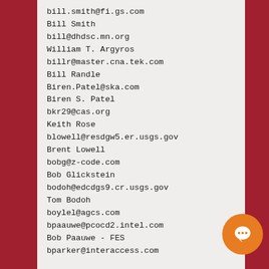bill.smith@fi.gs.com
Bill Smith
bill@dhdsc.mn.org
William T. Argyros
billr@master.cna.tek.com
Bill Randle
Biren.Patel@ska.com
Biren S. Patel
bkr29@cas.org
Keith Rose
blowell@resdgw5.er.usgs.gov
Brent Lowell
bobg@z-code.com
Bob Glickstein
bodoh@edcdgs9.cr.usgs.gov
Tom Bodoh
boylel@agcs.com
bpaauwe@pcocd2.intel.com
Bob Paauwe - FES
bparker@interaccess.com